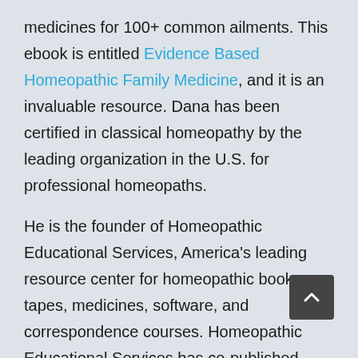medicines for 100+ common ailments. This ebook is entitled Evidence Based Homeopathic Family Medicine, and it is an invaluable resource. Dana has been certified in classical homeopathy by the leading organization in the U.S. for professional homeopaths.
He is the founder of Homeopathic Educational Services, America's leading resource center for homeopathic books, tapes, medicines, software, and correspondence courses. Homeopathic Educational Services has co-published over 35 books on homeopathy with North Atlantic Books. Dana writes a regular column for the wildly